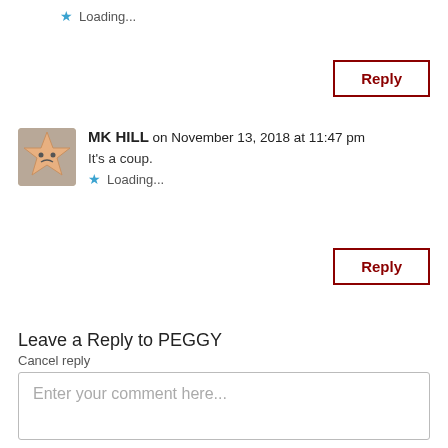★ Loading...
Reply
MK HILL on November 13, 2018 at 11:47 pm
It's a coup.
★ Loading...
Reply
Leave a Reply to PEGGY
Cancel reply
Enter your comment here...